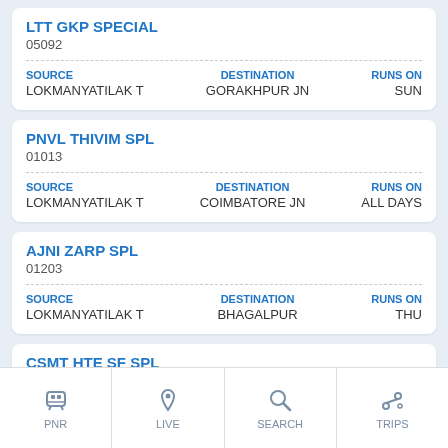LTT GKP SPECIAL
05092
| SOURCE | DESTINATION | RUNS ON |
| --- | --- | --- |
| LOKMANYATILAK T | GORAKHPUR JN | SUN |
PNVL THIVIM SPL
01013
| SOURCE | DESTINATION | RUNS ON |
| --- | --- | --- |
| LOKMANYATILAK T | COIMBATORE JN | ALL DAYS |
AJNI ZARP SPL
01203
| SOURCE | DESTINATION | RUNS ON |
| --- | --- | --- |
| LOKMANYATILAK T | BHAGALPUR | THU |
CSMT HTE SF SPL
02811
PNR  LIVE  SEARCH  TRIPS